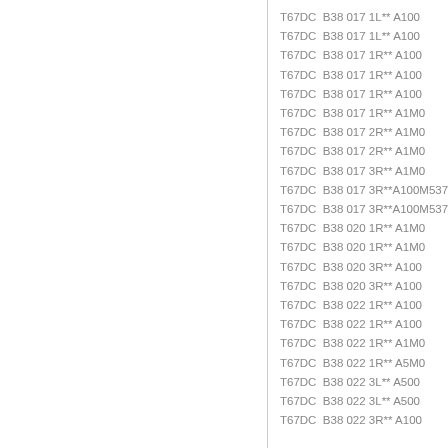T67DC  B38 017 1L** A100
T67DC  B38 017 1L** A100
T67DC  B38 017 1R** A100
T67DC  B38 017 1R** A100
T67DC  B38 017 1R** A100
T67DC  B38 017 1R** A1M0
T67DC  B38 017 2R** A1M0
T67DC  B38 017 2R** A1M0
T67DC  B38 017 3R** A1M0
T67DC  B38 017 3R**A100M537030
T67DC  B38 017 3R**A100M537030
T67DC  B38 020 1R** A1M0
T67DC  B38 020 1R** A1M0
T67DC  B38 020 3R** A100
T67DC  B38 020 3R** A100
T67DC  B38 022 1R** A100
T67DC  B38 022 1R** A100
T67DC  B38 022 1R** A1M0
T67DC  B38 022 1R** A5M0
T67DC  B38 022 3L** A500
T67DC  B38 022 3L** A500
T67DC  B38 022 3R** A100